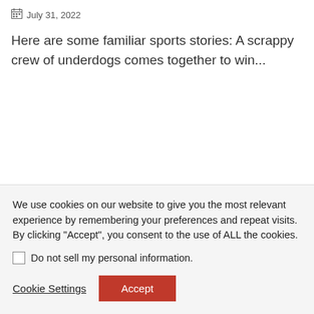July 31, 2022
Here are some familiar sports stories: A scrappy crew of underdogs comes together to win...
We use cookies on our website to give you the most relevant experience by remembering your preferences and repeat visits. By clicking "Accept", you consent to the use of ALL the cookies.
Do not sell my personal information.
Cookie Settings
Accept